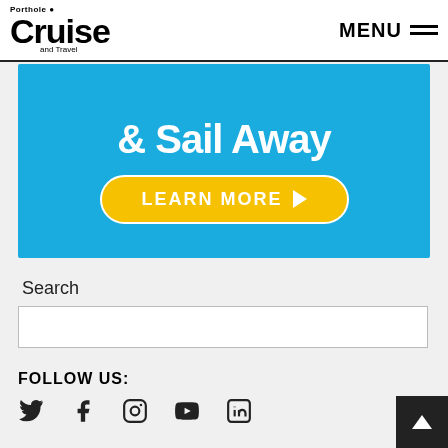Porthole Cruise and Travel | MENU
[Figure (infographic): Blue advertisement banner with text '& Sail Away' and a yellow 'LEARN MORE ▶' button]
Search
FOLLOW US:
[Figure (infographic): Social media icons: Twitter, Facebook, Instagram, YouTube, LinkedIn]